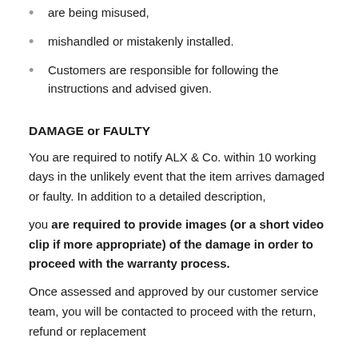are being misused,
mishandled or mistakenly installed.
Customers are responsible for following the instructions and advised given.
DAMAGE or FAULTY
You are required to notify ALX & Co. within 10 working days in the unlikely event that the item arrives damaged or faulty. In addition to a detailed description,
you are required to provide images (or a short video clip if more appropriate) of the damage in order to proceed with the warranty process.
Once assessed and approved by our customer service team, you will be contacted to proceed with the return, refund or replacement process. Please do not attempt to return the item without...